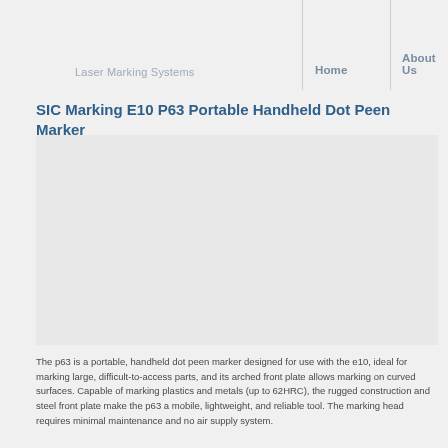Laser Marking Systems
Home
About Us
SIC Marking E10 P63 Portable Handheld Dot Peen Marker
[Figure (photo): Photo of SIC Marking E10 P63 Portable Handheld Dot Peen Marker product]
The p63 is a portable, handheld dot peen marker designed for use with the e10, ideal for marking large, difficult-to-access parts, and its arched front plate allows marking on curved surfaces. Capable of marking plastics and metals (up to 62HRC), the rugged construction and steel front plate make the p63 a mobile, lightweight, and reliable tool. The marking head requires minimal maintenance and no air supply system.